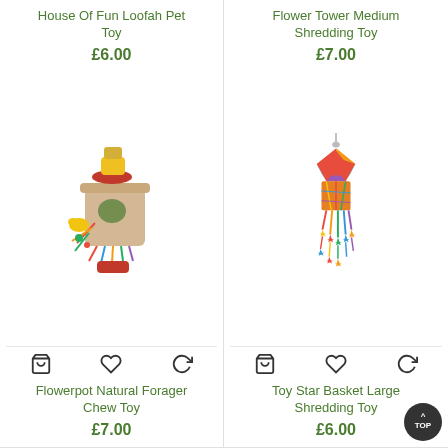House Of Fun Loofah Pet Toy
£6.00
[Figure (photo): A colorful loofah pet toy - Flowerpot Natural Forager Chew Toy with feathers, beads, and colorful decorations attached to a pot-shaped base]
Flowerpot Natural Forager Chew Toy
£7.00
Flower Tower Medium Shredding Toy
£7.00
[Figure (photo): A colorful woven star basket large shredding toy hanging from a hook, featuring multicolored woven top with dangling colored star shapes and streamers]
Toy Star Basket Large Shredding Toy
£6.00